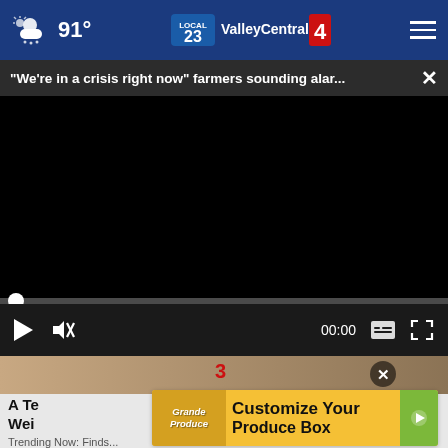91° ValleyCentral.com
"We're in a crisis right now" farmers sounding alar...
[Figure (screenshot): Black video player screen with playback controls: play button, mute button, time display 00:00, captions button, fullscreen button, and a progress bar with a white dot at the start.]
[Figure (photo): Partial thumbnail image below video player showing what appears to be a person near wooden crates with a red numeral visible.]
A Te
Wei
[Figure (infographic): Advertisement banner for Grande Produce: 'Customize Your Produce Box' with produce imagery and a play button icon.]
Trending Now: Finds...